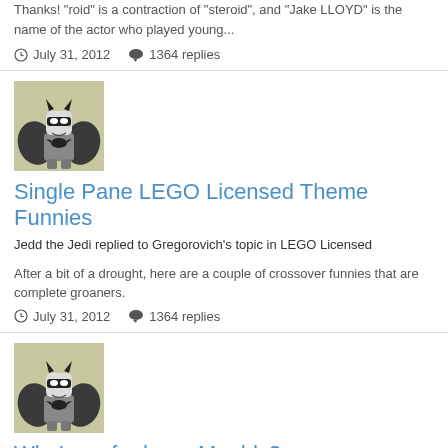Thanks! "roid" is a contraction of "steroid", and "Jake LLOYD" is the name of the actor who played young...
July 31, 2012   1364 replies
[Figure (illustration): LEGO Batman minifigure avatar with gray suit and black cape/wings]
Single Pane LEGO Licensed Theme Funnies
Jedd the Jedi replied to Gregorovich's topic in LEGO Licensed
After a bit of a drought, here are a couple of crossover funnies that are complete groaners.
July 31, 2012   1364 replies
[Figure (illustration): LEGO Batman minifigure avatar with gray suit and black cape/wings]
Who's up for large Moulds?
Jedd the Jedi replied to Vindice's topic in LEGO Licensed